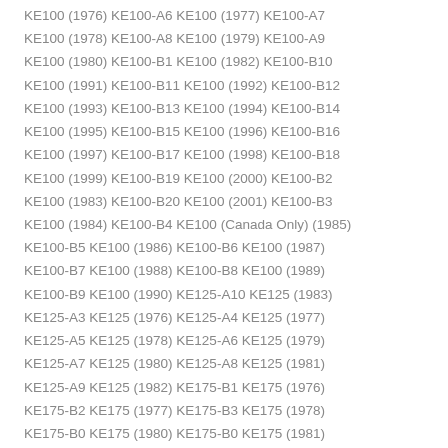KE100 (1976) KE100-A6 KE100 (1977) KE100-A7 KE100 (1978) KE100-A8 KE100 (1979) KE100-A9 KE100 (1980) KE100-B1 KE100 (1982) KE100-B10 KE100 (1991) KE100-B11 KE100 (1992) KE100-B12 KE100 (1993) KE100-B13 KE100 (1994) KE100-B14 KE100 (1995) KE100-B15 KE100 (1996) KE100-B16 KE100 (1997) KE100-B17 KE100 (1998) KE100-B18 KE100 (1999) KE100-B19 KE100 (2000) KE100-B2 KE100 (1983) KE100-B20 KE100 (2001) KE100-B3 KE100 (1984) KE100-B4 KE100 (Canada Only) (1985) KE100-B5 KE100 (1986) KE100-B6 KE100 (1987) KE100-B7 KE100 (1988) KE100-B8 KE100 (1989) KE100-B9 KE100 (1990) KE125-A10 KE125 (1983) KE125-A3 KE125 (1976) KE125-A4 KE125 (1977) KE125-A5 KE125 (1978) KE125-A6 KE125 (1979) KE125-A7 KE125 (1980) KE125-A8 KE125 (1981) KE125-A9 KE125 (1982) KE175-B1 KE175 (1976) KE175-B2 KE175 (1977) KE175-B3 KE175 (1978) KE175-B0 KE175 (1980) KE175-B0 KE175 (1981)